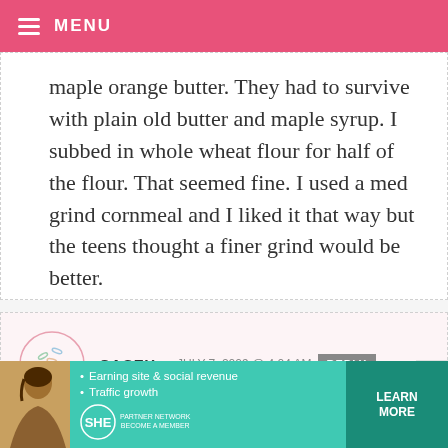MENU
maple orange butter. They had to survive with plain old butter and maple syrup. I subbed in whole wheat flour for half of the flour. That seemed fine. I used a med grind cornmeal and I liked it that way but the teens thought a finer grind would be better.
CASEY — JULY 7, 2009 @ 4:04 AM
O-M-G! This is the first time I tried a recipe that didn't call for a mix of some
[Figure (infographic): Advertisement banner for SHE Media Partner Network. Features bullet points: Earning site & social revenue, Traffic growth. SHE logo with PARTNER NETWORK and BECOME A MEMBER text. LEARN MORE button.]